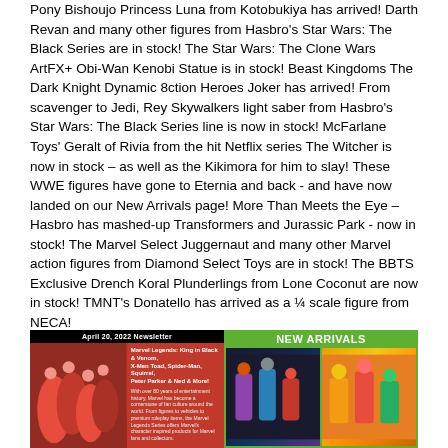Pony Bishoujo Princess Luna from Kotobukiya has arrived! Darth Revan and many other figures from Hasbro's Star Wars: The Black Series are in stock! The Star Wars: The Clone Wars ArtFX+ Obi-Wan Kenobi Statue is in stock! Beast Kingdoms The Dark Knight Dynamic 8ction Heroes Joker has arrived! From scavenger to Jedi, Rey Skywalkers light saber from Hasbro's Star Wars: The Black Series line is now in stock! McFarlane Toys' Geralt of Rivia from the hit Netflix series The Witcher is now in stock – as well as the Kikimora for him to slay! These WWE figures have gone to Eternia and back - and have now landed on our New Arrivals page! More Than Meets the Eye – Hasbro has mashed-up Transformers and Jurassic Park - now in stock! The Marvel Select Juggernaut and many other Marvel action figures from Diamond Select Toys are in stock! The BBTS Exclusive Drench Koral Plunderlings from Lone Coconut are now in stock! TMNT's Donatello has arrived as a ¼ scale figure from NECA!
[Figure (screenshot): Newsletter banner with two sections: left side shows April 20, 2022 Newsletter about Marvel Legends featuring King in Black & Venom, X-Men Toad, Spider-Man, Squirrel, Peter Parker & Ned & More! with colorful action figures image; right side shows NEW ARRIVALS header in green with two images of action figures.]